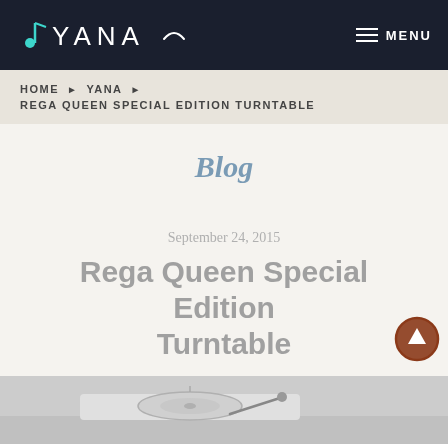YANA | MENU
HOME ▶ YANA ▶ REGA QUEEN SPECIAL EDITION TURNTABLE
Blog
September 24, 2015
Rega Queen Special Edition Turntable
[Figure (photo): Grayscale photograph of a turntable (record player) on a light background, partially visible at the bottom of the page.]